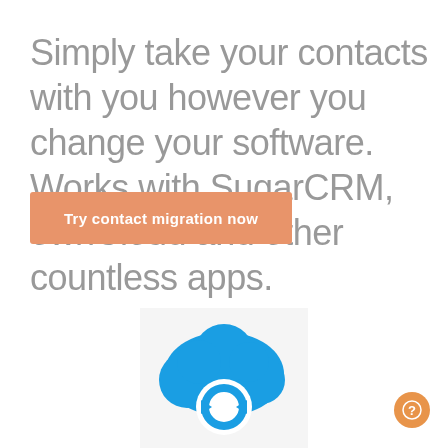Simply take your contacts with you however you change your software. Works with SugarCRM, ownCloud and other countless apps.
[Figure (other): Orange call-to-action button labeled 'Try contact migration now']
[Figure (logo): Blue cloud logo with circular arrows (ownCloud-style icon) on a light grey background]